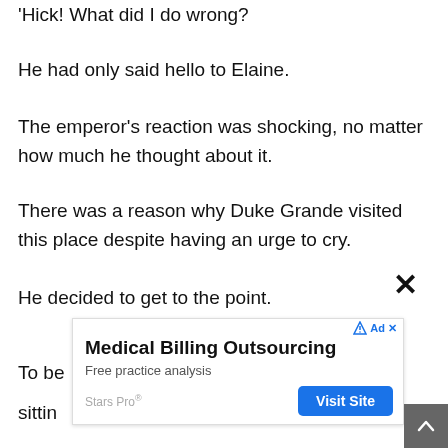'Hick! What did I do wrong?
He had only said hello to Elaine.
The emperor's reaction was shocking, no matter how much he thought about it.
There was a reason why Duke Grande visited this place despite having an urge to cry.
He decided to get to the point.
To be...
sitting...sses
[Figure (screenshot): Advertisement overlay: Medical Billing Outsourcing, Free practice analysis, Stars Pro, Visit Site button. Close (X) button in top right.]